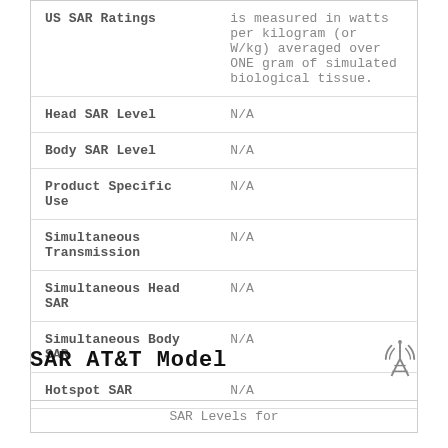|  |  |
| --- | --- |
| US SAR Ratings | is measured in watts per kilogram (or W/kg) averaged over ONE gram of simulated biological tissue. |
| Head SAR Level | N/A |
| Body SAR Level | N/A |
| Product Specific Use | N/A |
| Simultaneous Transmission | N/A |
| Simultaneous Head SAR | N/A |
| Simultaneous Body SAR | N/A |
| Hotspot SAR | N/A |
SAR AT&T Model
[Figure (illustration): Antenna/tower icon]
| SAR Levels for |